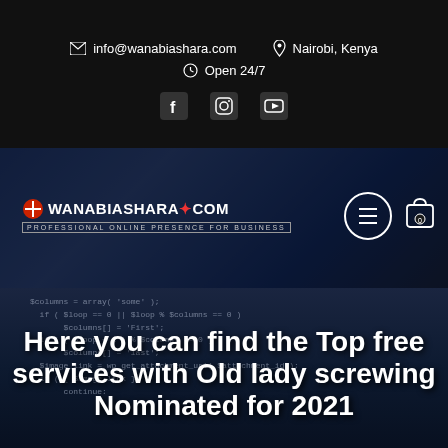info@wanabiashara.com   Nairobi, Kenya   Open 24/7
[Figure (screenshot): Wanabiashara.com website navigation bar with logo, hamburger menu button, and cart icon over a dark blurred background]
[Figure (screenshot): Code editor screenshot with PHP/programming code in dark blue theme, overlaid with large white bold article title text]
Here you can find the Top free services with Old lady screwing Nominated for 2021